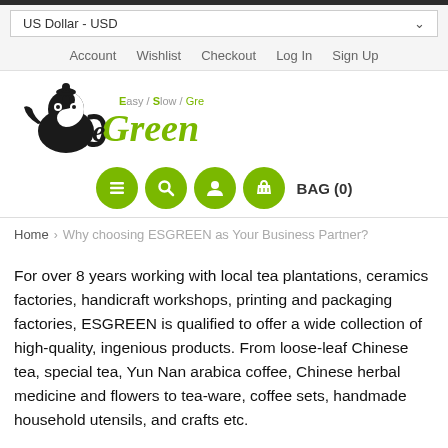US Dollar - USD
Account   Wishlist   Checkout   Log In   Sign Up
[Figure (logo): ESGREEN logo with panda/teapot icon and green script text reading 'eGreen' with tagline 'Easy / Slow / Green']
BAG (0)
Home > Why choosing ESGREEN as Your Business Partner?
For over 8 years working with local tea plantations, ceramics factories, handicraft workshops, printing and packaging factories, ESGREEN is qualified to offer a wide collection of high-quality, ingenious products. From loose-leaf Chinese tea, special tea, Yun Nan arabica coffee, Chinese herbal medicine and flowers to tea-ware, coffee sets, handmade household utensils, and crafts etc.